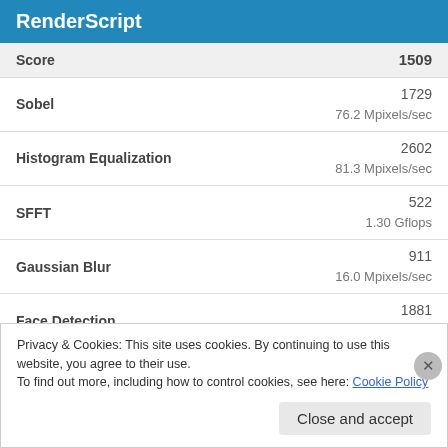RenderScript
| Metric | Score / Value |
| --- | --- |
| Score | 1509 |
| Sobel | 1729
76.2 Mpixels/sec |
| Histogram Equalization | 2602
81.3 Mpixels/sec |
| SFFT | 522
1.30 Gflops |
| Gaussian Blur | 911
16.0 Mpixels/sec |
| Face Detection | 1881
549.6 Ksubwindows/sec |
| RAW | 4027
39.0 Mpixels/sec |
Privacy & Cookies: This site uses cookies. By continuing to use this website, you agree to their use.
To find out more, including how to control cookies, see here: Cookie Policy
Close and accept